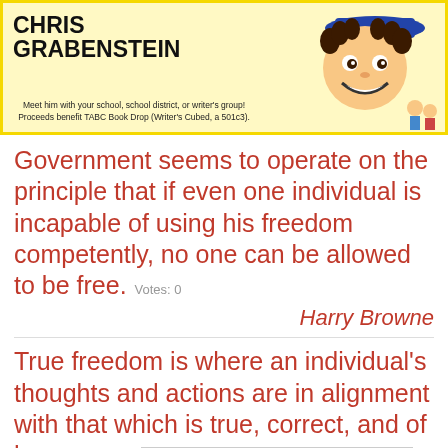[Figure (illustration): Advertisement banner with yellow background showing 'CHRIS GRABENSTEIN' text in bold black, a cartoon character of a boy on the right, and text 'Meet him with your school, school district, or writer's group! Proceeds benefit TABC Book Drop (Writer's Cubed, a 501c3).']
Government seems to operate on the principle that if even one individual is incapable of using his freedom competently, no one can be allowed to be free.  Votes: 0
Harry Browne
True freedom is where an individual's thoughts and actions are in alignment with that which is true, correct, and of honor - no matter the perso... McGill
[Figure (screenshot): Advertisement overlay showing '37 ITEMS PEOPLE LOVE TO PURCHASE ON AMAZON' with product images and a teal/cyan background, with a CLOSE button and X button.]